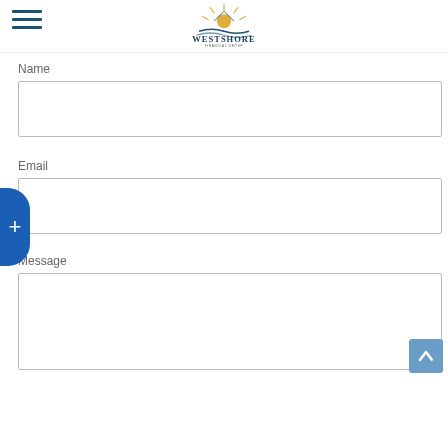Westshore Financial Group
Name
Email
Message